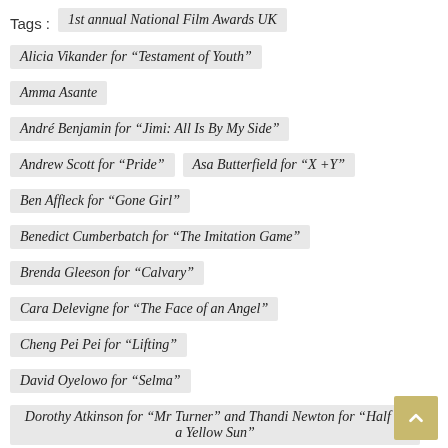Tags :
1st annual National Film Awards UK
Alicia Vikander for “Testament of Youth”
Amma Asante
André Benjamin for “Jimi: All Is By My Side”
Andrew Scott for “Pride”
Asa Butterfield for “X +Y”
Ben Affleck for “Gone Girl”
Benedict Cumberbatch for “The Imitation Game”
Brenda Gleeson for “Calvary”
Cara Delevigne for “The Face of an Angel”
Cheng Pei Pei for “Lifting”
David Oyelowo for “Selma”
Dorothy Atkinson for “Mr Turner” and Thandi Newton for “Half of a Yellow Sun”
Gugu Mbatha-Raw for “Belle”
Gugu Mbatha-Raw for “Beyond the Lights”
Imelda Stauton for “Pride”
Jack O’ Connell for “71”